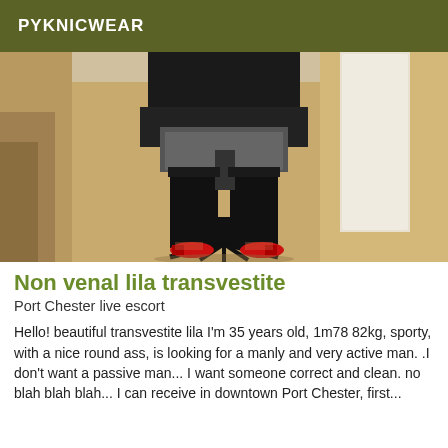PYKNICWEAR
[Figure (photo): Person seated on a black office chair, wearing a short gray skirt, black stockings, black top, and red high heels, photographed from the neck down in a room with wood flooring.]
Non venal lila transvestite
Port Chester live escort
Hello! beautiful transvestite lila I'm 35 years old, 1m78 82kg, sporty, with a nice round ass, is looking for a manly and very active man. .I don't want a passive man... I want someone correct and clean. no blah blah blah... I can receive in downtown Port Chester, first...